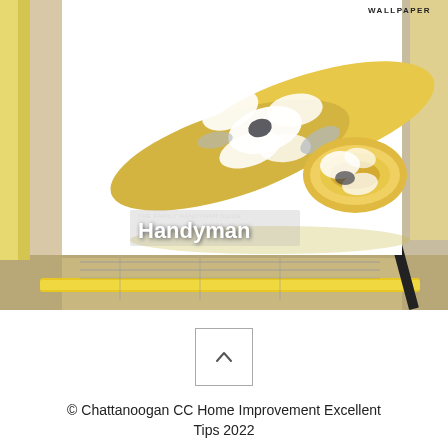[Figure (photo): Magazine-style photo showing rolled yellow/golden wallpaper with white floral pattern on a white background card, with 'WALLPAPER' text label at top right. Below the card is a background of tools including rulers and pencils on blueprints. 'Handyman' text overlay appears in white bold italic at bottom left of white card area.]
^
© Chattanoogan CC Home Improvement Excellent Tips 2022